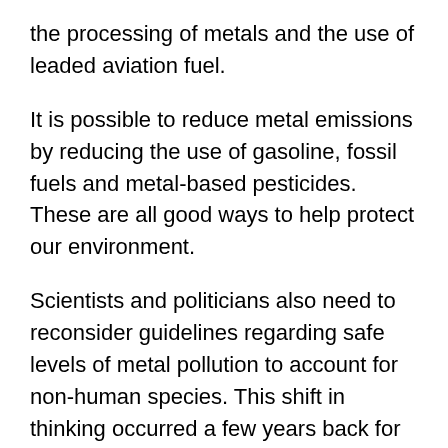the processing of metals and the use of leaded aviation fuel.
It is possible to reduce metal emissions by reducing the use of gasoline, fossil fuels and metal-based pesticides. These are all good ways to help protect our environment.
Scientists and politicians also need to reconsider guidelines regarding safe levels of metal pollution to account for non-human species. This shift in thinking occurred a few years back for widespread use of harmful pesticides during intensive agriculture in many areas of the globe.